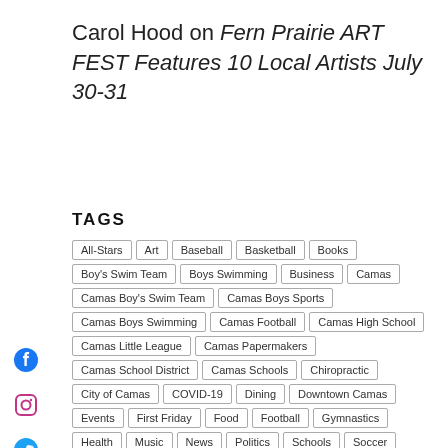Carol Hood on Fern Prairie ART FEST Features 10 Local Artists July 30-31
TAGS
All-Stars
Art
Baseball
Basketball
Books
Boy's Swim Team
Boys Swimming
Business
Camas
Camas Boy's Swim Team
Camas Boys Sports
Camas Boys Swimming
Camas Football
Camas High School
Camas Little League
Camas Papermakers
Camas School District
Camas Schools
Chiropractic
City of Camas
COVID-19
Dining
Downtown Camas
Events
First Friday
Food
Football
Gymnastics
Health
Music
News
Politics
Schools
Soccer
Softball
Sports
Swimming
Theater
Theatre
Track and Field
Travel
Vancouver
Washougal
Washougal Schools